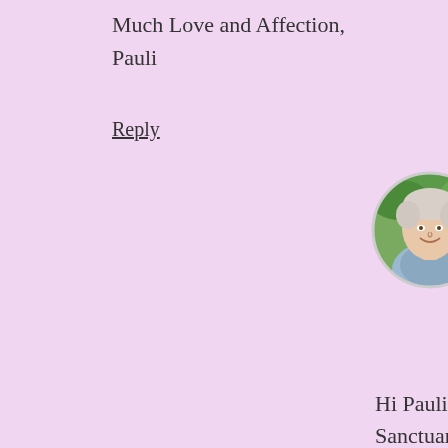Much Love and Affection,
Pauli
Reply
[Figure (photo): Circular avatar photo of a woman with short light hair, smiling, outdoors with greenery in background]
amayagregory
March 11, 2012 at 5:18 pm
Hi Pauli. Both HeartGate and Costa Rica are Sanctuaries. I am working on the book. It is a slow process, as each new entry is a reliving of the experience and breaks loose that part of me this wasn't fully available at the time. We don't know how much of life we miss, that we don't feel. Feeling it all is the answer and I at least, didn't know how